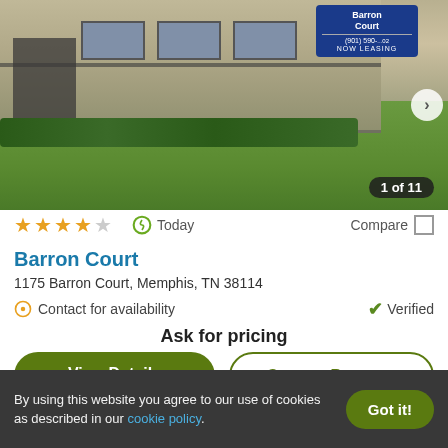[Figure (photo): Exterior photo of Barron Court apartment complex showing a two-story building with staircases, green lawn, and a blue Barron Court sign reading '(901) 590-...02 NOW LEASING'. Image counter badge shows '1 of 11'.]
★ ★ ★ ★ ☆   Today   Compare □
Barron Court
1175 Barron Court, Memphis, TN 38114
Contact for availability   ✔ Verified
Ask for pricing
View Details   Contact Property
By using this website you agree to our use of cookies as described in our cookie policy.